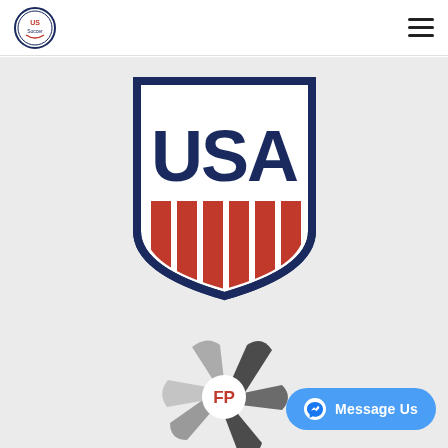[Figure (logo): Small circular organization logo with red and blue design in the top-left header]
[Figure (other): Hamburger menu icon (three horizontal lines) in the top-right header]
[Figure (logo): US Soccer / USA crest logo: shield shape with dark navy border, large bold USA text at top in navy, and red vertical stripes at the bottom]
[Figure (logo): FP photography logo: swirling aperture/shutter blade design in dark charcoal/grey with red FP letters in the center]
[Figure (other): Message Us button with Facebook Messenger icon, blue rounded rectangle, bottom-right corner]